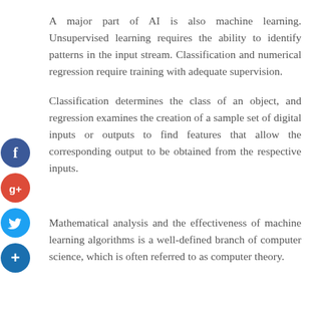A major part of AI is also machine learning. Unsupervised learning requires the ability to identify patterns in the input stream. Classification and numerical regression require training with adequate supervision.
Classification determines the class of an object, and regression examines the creation of a sample set of digital inputs or outputs to find features that allow the corresponding output to be obtained from the respective inputs.
[Figure (other): Social media sharing buttons: Facebook (blue circle with f), Google+ (red circle with g+), Twitter (blue circle with bird icon), Add/Plus (dark blue circle with + icon)]
Mathematical analysis and the effectiveness of machine learning algorithms is a well-defined branch of computer science, which is often referred to as computer theory.